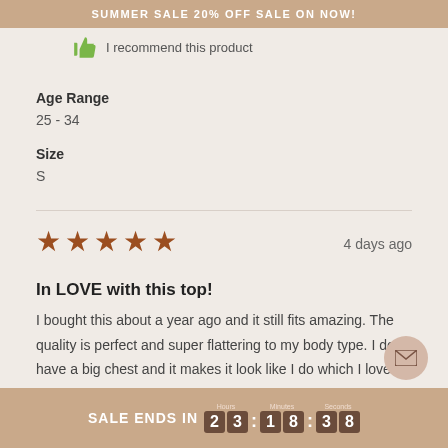SUMMER SALE 20% OFF SALE ON NOW!
I recommend this product
Age Range
25 - 34
Size
S
[Figure (other): 5 brown star rating icons]
4 days ago
In LOVE with this top!
I bought this about a year ago and it still fits amazing. The quality is perfect and super flattering to my body type. I don't have a big chest and it makes it look like I do which I love! One of my favourite bathing suit tops to wear.
SALE ENDS IN 23:18:38